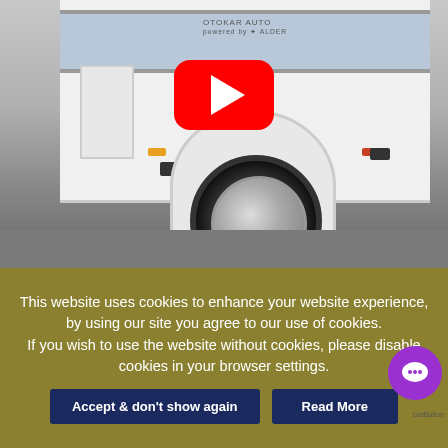[Figure (photo): A white coach/bus photographed from the side showing the wheel area, with a YouTube play button overlay in the center of the image.]
This website uses cookies to enhance your website experience, by using our site you agree to our use of cookies. If you wish to use the website without cookies, please disable cookies in your browser settings.